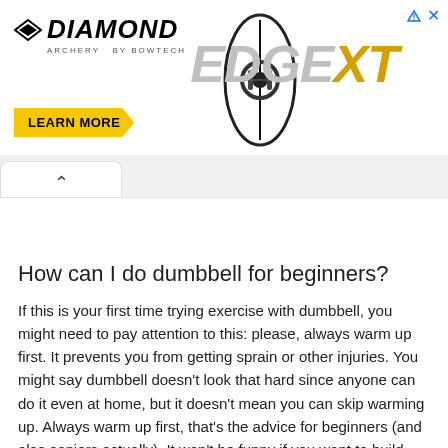[Figure (screenshot): Diamond Archery Edge XT advertisement banner with logo, bow image, 'LEARN MORE' yellow button, and close/ad icons]
How can I do dumbbell for beginners?
If this is your first time trying exercise with dumbbell, you might need to pay attention to this: please, always warm up first. It prevents you from getting sprain or other injuries. You might say dumbbell doesn't look that hard since anyone can do it even at home, but it doesn't mean you can skip warming up. Always warm up first, that's the advice for beginners (and also seniors actually). It won't be funny if you want to build your body, but what you